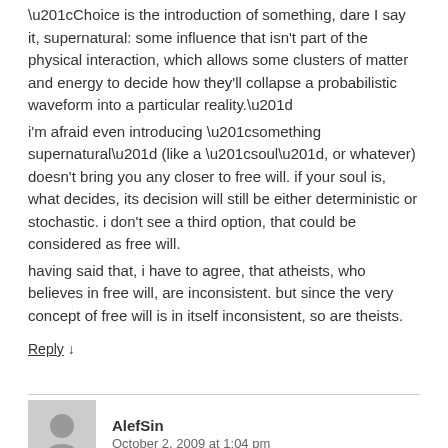“Choice is the introduction of something, dare I say it, supernatural: some influence that isn’t part of the physical interaction, which allows some clusters of matter and energy to decide how they’ll collapse a probabilistic waveform into a particular reality.”
i’m afraid even introducing “something supernatural” (like a “soul”, or whatever) doesn’t bring you any closer to free will. if your soul is, what decides, its decision will still be either deterministic or stochastic. i don’t see a third option, that could be considered as free will.
having said that, i have to agree, that atheists, who believes in free will, are inconsistent. but since the very concept of free will is in itself inconsistent, so are theists.
Reply ↓
AlefSin
October 2, 2009 at 1:04 pm